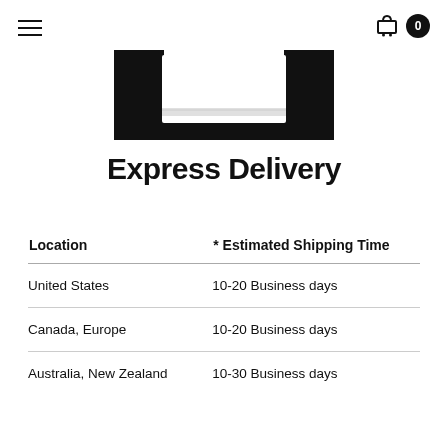≡  🛒 0
[Figure (photo): Product image — white pillow or textile item against black background]
Express Delivery
| Location | * Estimated Shipping Time |
| --- | --- |
| United States | 10-20 Business days |
| Canada, Europe | 10-20 Business days |
| Australia, New Zealand | 10-30 Business days |